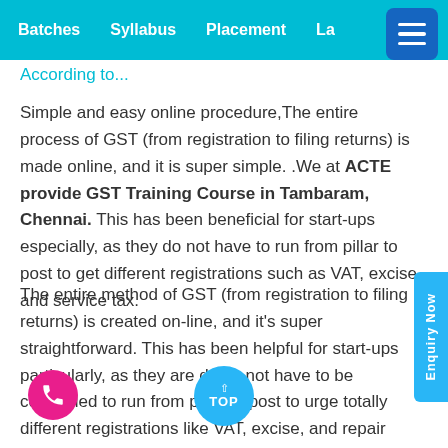Batches   Syllabus   Placement   La...
According to...
Simple and easy online procedure,The entire process of GST (from registration to filing returns) is made online, and it is super simple. .We at ACTE provide GST Training Course in Tambaram, Chennai. This has been beneficial for start-ups especially, as they do not have to run from pillar to post to get different registrations such as VAT, excise, and service tax.
The entire method of GST (from registration to filing returns) is created on-line, and it's super straightforward. This has been helpful for start-ups particularly, as they are doing not have to be compelled to run from pillar to post to urge totally different registrations like VAT, excise, and repair tax.The introduction of products and repair tax would be one very of the larger reforms in the Indian economy in the field of taxation reforms. it might facilitate in mitigating